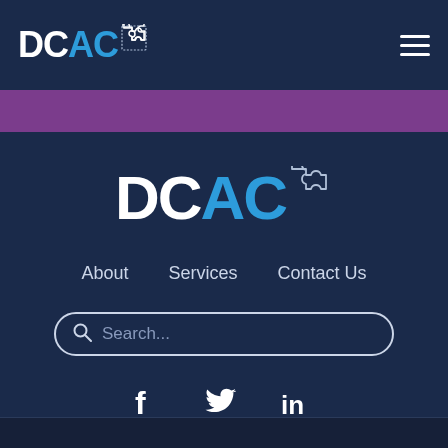[Figure (logo): DCAC logo in header — 'DC' in white bold, 'AC' in blue bold, with puzzle piece icon. Hamburger menu icon top-right.]
[Figure (logo): DCAC logo centered — 'DC' in white bold large, 'AC' in blue bold large, with puzzle piece icon.]
About    Services    Contact Us
[Figure (other): Search bar with magnifying glass icon and placeholder text 'Search...']
[Figure (other): Social media icons: Facebook (f), Twitter (bird), LinkedIn (in)]